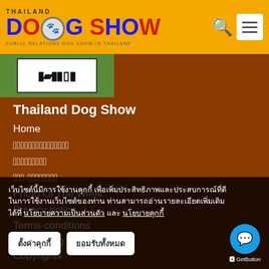Thailand Dog Show - THAILAND DOG SHOW PUBLIC RELATIONS DOG SHOW IN THAILAND
[Figure (logo): Thailand Dog Show logo with colorful text and globe icon on orange background]
Thailand Dog Show
Home
ข่าวสารการแข่งขันสุนัข
ผลการแข่งขัน
สายพันธุ์-มาตรฐานสายพันธุ์
Photo Of The Week
Privacy policy
Terms-conditions
Advertising
Copyrights
เว็บไซต์นี้มีการใช้งานคุกกี้ เพื่อเพิ่มประสิทธิภาพและประสบการณ์ที่ดีในการใช้งานเว็บไซต์ของท่าน ท่านสามารถอ่านรายละเอียดเพิ่มเติมได้ที่ นโยบายความเป็นส่วนตัว และ นโยบายคุกกี้